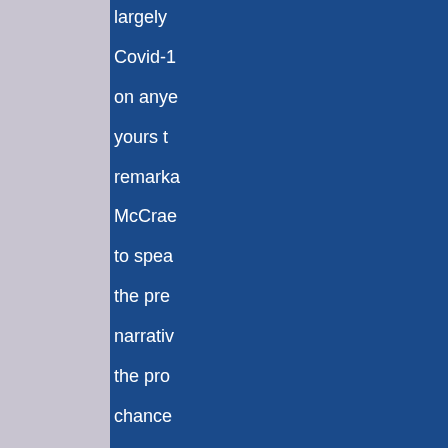largely Covid-1 on anye yours t remarka McCrae to spea the pre narrativ the pro chance â€˜Save limeligh substa [...] As a Nurse a the Roy Nursing despain